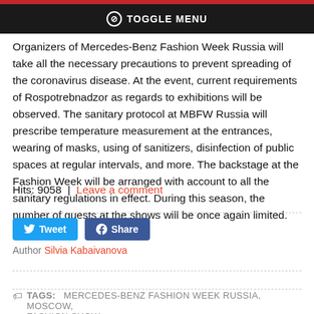⊘ TOGGLE MENU
Organizers of Mercedes-Benz Fashion Week Russia will take all the necessary precautions to prevent spreading of the coronavirus disease. At the event, current requirements of Rospotrebnadzor as regards to exhibitions will be observed. The sanitary protocol at MBFW Russia will prescribe temperature measurement at the entrances, wearing of masks, using of sanitizers, disinfection of public spaces at regular intervals, and more. The backstage at the Fashion Week will be arranged with account to all the sanitary regulations in effect. During this season, the number of guests at the shows will be once again limited.
Hits: 9058  |  Leave a comment
Tweet  Share
Author Silvia Kabaivanova
TAGS:  MERCEDES-BENZ FASHION WEEK RUSSIA, MOSCOW, FASHION SHOW